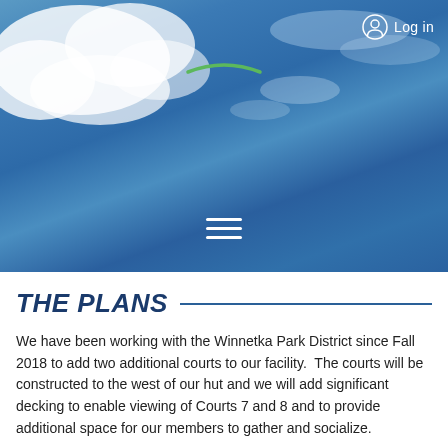[Figure (photo): Blue sky with white clouds background photo for a park district website header. A green arc/logo element is visible near the top center against the sky.]
Log in
THE PLANS
We have been working with the Winnetka Park District since Fall 2018 to add two additional courts to our facility. The courts will be constructed to the west of our hut and we will add significant decking to enable viewing of Courts 7 and 8 and to provide additional space for our members to gather and socialize.